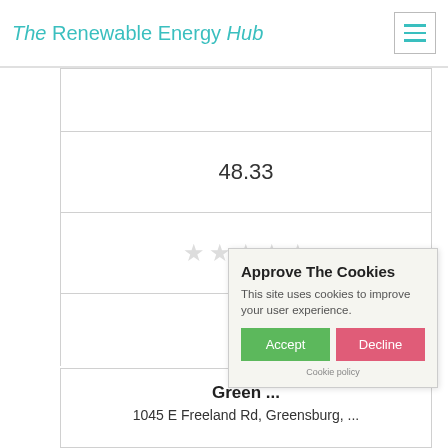The Renewable Energy Hub
48.33
[Figure (other): Five empty star rating icons in light gray]
[Figure (other): Empty checkbox square]
Get a Quote
Green ...
1045 E Freeland Rd, Greensburg, ...
Approve The Cookies
This site uses cookies to improve your user experience.
Accept   Decline
Cookie policy